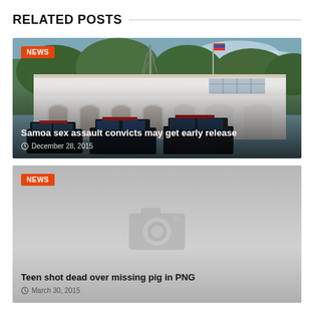RELATED POSTS
[Figure (photo): Photo of a police station building with police cars parked in front, trees in background, under a partly cloudy sky. Orange NEWS badge in top left corner. Article title: 'Samoa sex assault convicts may get early release'. Date: December 28, 2015.]
[Figure (photo): Placeholder image with a camera icon on grey background. Orange NEWS badge in top left corner. Article title: 'Teen shot dead over missing pig in PNG'. Date: March 30, 2015.]